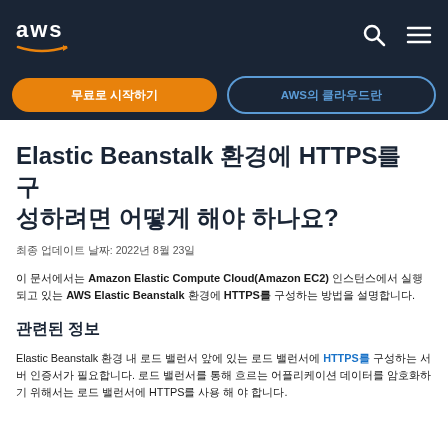aws [logo] [search icon] [menu icon]
무료로 시작하기  |  AWS의 클라우드란
Elastic Beanstalk 환경에 HTTPS를 구성하려면 어떻게 해야 하나요?
최종 업데이트 날짜: 2022년 8월 23일
이 문서에서는 Amazon Elastic Compute Cloud(Amazon EC2) 인스턴스에서 실행되고 있는 AWS Elastic Beanstalk 환경에 HTTPS를 구성하는 방법을 설명합니다.
관련된 정보
Elastic Beanstalk 환경 내 로드 밸런서 앞에 있는 로드 밸런서에 HTTPS를 구성하는 서버 인증서가 필요합니다. 로드 밸런서를 통해 흐르는 어플리케이션 데이터를 암호화하기 위해서는 HTTPS를 사용 해야 합니다.